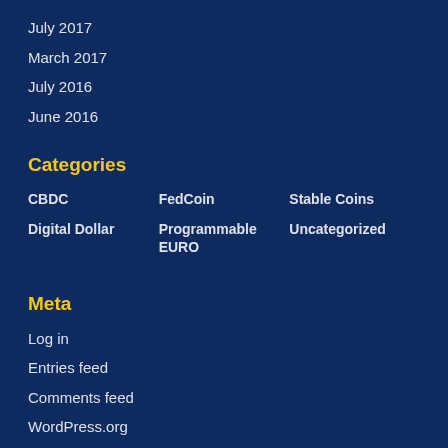July 2017
March 2017
July 2016
June 2016
Categories
CBDC
FedCoin
Stable Coins
Digital Dollar
Programmable EURO
Uncategorized
Meta
Log in
Entries feed
Comments feed
WordPress.org